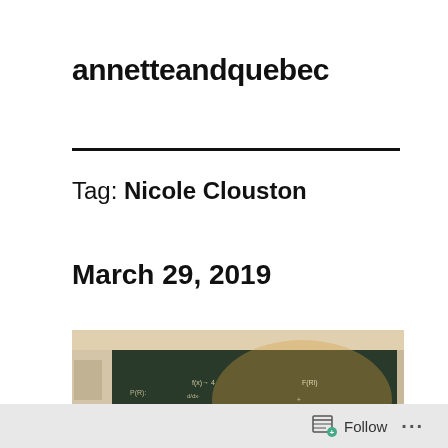annetteandquebec
Tag: Nicole Clouston
March 29, 2019
[Figure (photo): A classroom chalkboard covered with mathematical equations and formulas written in chalk, with a warm light illuminating part of the board.]
Follow ...